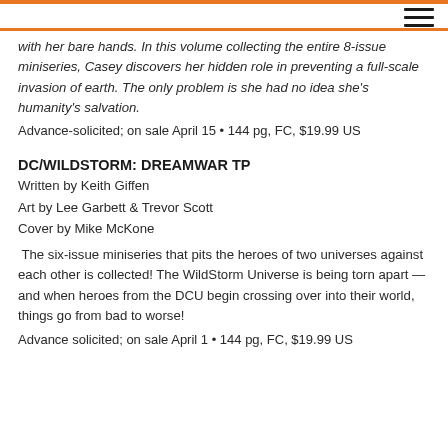with her bare hands. In this volume collecting the entire 8-issue miniseries, Casey discovers her hidden role in preventing a full-scale invasion of earth. The only problem is she had no idea she's humanity's salvation.
Advance-solicited; on sale April 15 • 144 pg, FC, $19.99 US
DC/WILDSTORM: DREAMWAR TP
Written by Keith Giffen
Art by Lee Garbett & Trevor Scott
Cover by Mike McKone
The six-issue miniseries that pits the heroes of two universes against each other is collected! The WildStorm Universe is being torn apart — and when heroes from the DCU begin crossing over into their world, things go from bad to worse!
Advance solicited; on sale April 1 • 144 pg, FC, $19.99 US